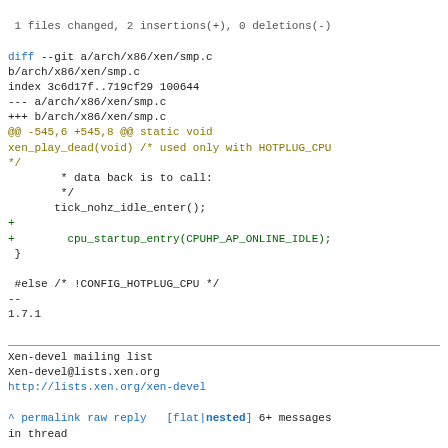1 files changed, 2 insertions(+), 0 deletions(-)
diff --git a/arch/x86/xen/smp.c b/arch/x86/xen/smp.c
index 3c6d17f..719cf29 100644
--- a/arch/x86/xen/smp.c
+++ b/arch/x86/xen/smp.c
@@ -545,6 +545,8 @@ static void xen_play_dead(void) /* used only with HOTPLUG_CPU */
 */
         * data back is to call:
         */
        tick_nohz_idle_enter();
+
+        cpu_startup_entry(CPUHP_AP_ONLINE_IDLE);
 }

 #else /* !CONFIG_HOTPLUG_CPU */
--
1.7.1
Xen-devel mailing list
Xen-devel@lists.xen.org
http://lists.xen.org/xen-devel

^ permalink raw reply   [flat|nested] 6+ messages in thread